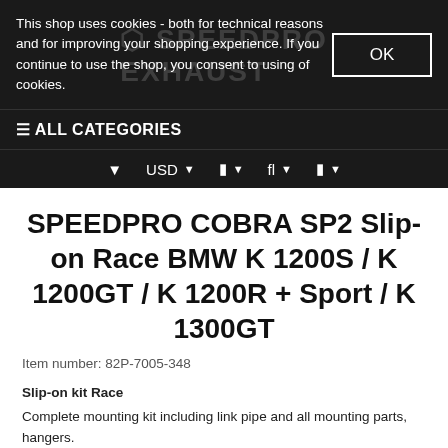This shop uses cookies - both for technical reasons and for improving your shopping experience. If you continue to use the shop, you consent to using of cookies.
OK
☰ ALL CATEGORIES
▼  USD ▼  ☐ ▼  fl ▼  ☐ ▼
SPEEDPRO COBRA SP2 Slip-on Race BMW K 1200S / K 1200GT / K 1200R + Sport / K 1300GT
Item number: 82P-7005-348
Slip-on kit Race
Complete mounting kit including link pipe and all mounting parts, hangers.
The muffler has a diameter of 100mm.
Notes:
Exceptions: